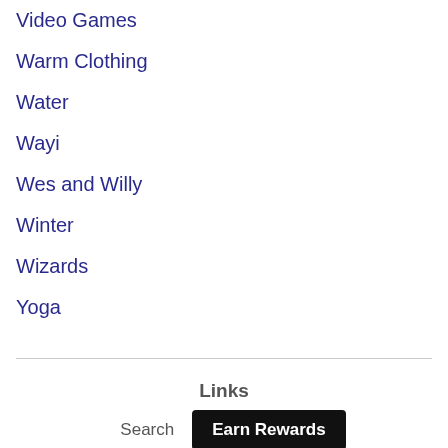Video Games
Warm Clothing
Water
Wayi
Wes and Willy
Winter
Wizards
Yoga
Links
Search
Earn Rewards